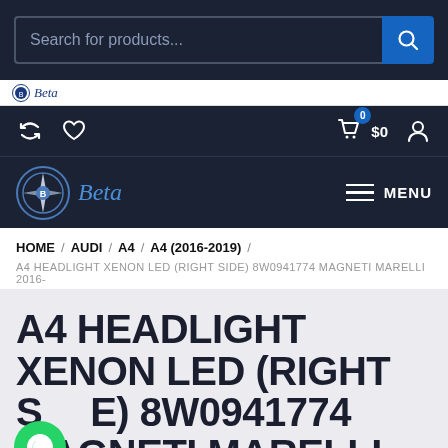Search for products...
Beta (logo)
0  $0  (icons)
Beta logo / MENU
HOME / AUDI / A4 / A4 (2016-2019) /
A4 HEADLIGHT XENON LED (RIGHT SIDE) 8W0941774 MAGNETI MARELLI 2016-
A4 HEADLIGHT XENON LED (RIGHT SIDE) 8W0941774 MAGNETI MARELLI